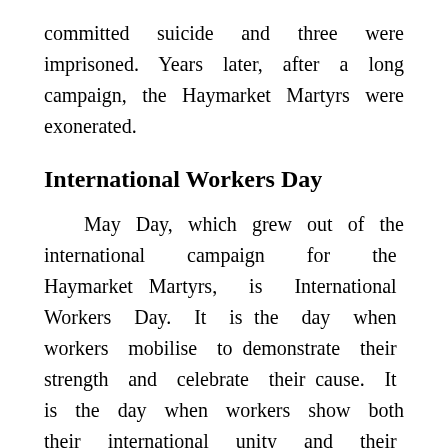committed suicide and three were imprisoned. Years later, after a long campaign, the Haymarket Martyrs were exonerated.
International Workers Day
May Day, which grew out of the international campaign for the Haymarket Martyrs, is International Workers Day. It is the day when workers mobilise to demonstrate their strength and celebrate their cause. It is the day when workers show both their international unity and their separation from the capitalists. In Australia, most governments have been keen to erase May